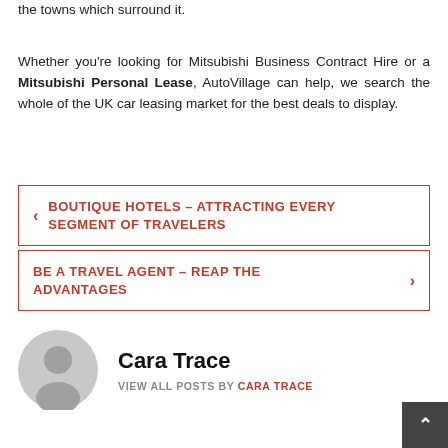the towns which surround it.
Whether you're looking for Mitsubishi Business Contract Hire or a Mitsubishi Personal Lease, AutoVillage can help, we search the whole of the UK car leasing market for the best deals to display.
BOUTIQUE HOTELS – ATTRACTING EVERY SEGMENT OF TRAVELERS
BE A TRAVEL AGENT – REAP THE ADVANTAGES
Cara Trace
VIEW ALL POSTS BY CARA TRACE